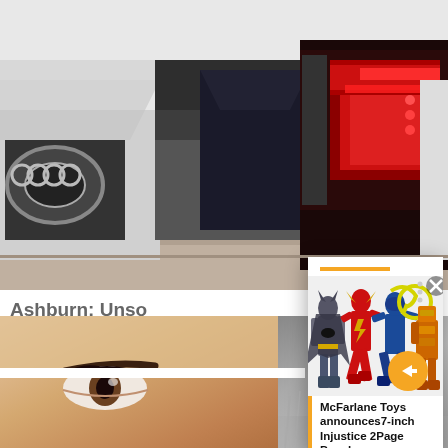[Figure (photo): Row of cars in a dealership showroom, showing front grilles on the left and red tail lights on the right]
Ashburn: Unsold SUVs Being Given Away: S
Unsold SUVs
[Figure (photo): Popup card showing McFarlane Toys DC superhero action figures including Batman, The Flash, a blue superhero with lasso, and an orange robot/villain, with an orange arrow navigation button and x close button]
McFarlane Toys announces 7-inch Injustice 2 Page Punchers
[Figure (photo): Bottom strip showing close-up of a person's eye/face on the left and grass/outdoor scene on the right]